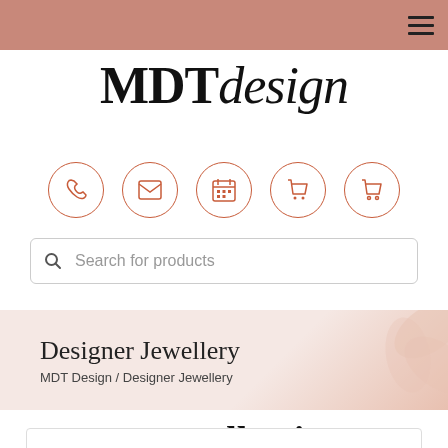MDT Design header navigation bar with hamburger menu
MDTdesign
[Figure (infographic): Row of 5 circular icon buttons in terracotta/rose color: phone, email, calendar, shopping cart (filled), shopping cart (outlined)]
Search for products
Designer Jewellery
MDT Design / Designer Jewellery
Our Collection